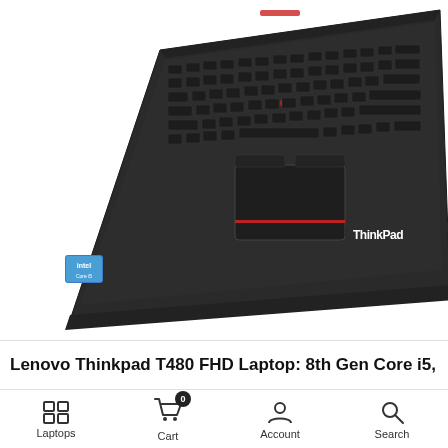[Figure (photo): Lenovo ThinkPad T480 laptop shown from above at an angle, displaying the keyboard, trackpad with red accent stripe, TrackPoint pointing device, and ThinkPad logo. The laptop is dark grey/black. An Intel sticker is visible on the bottom left of the keyboard area.]
Lenovo Thinkpad T480 FHD Laptop: 8th Gen Core i5,
Laptops  Cart  Account  Search